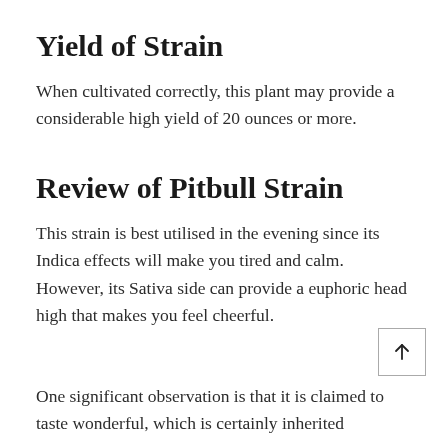Yield of Strain
When cultivated correctly, this plant may provide a considerable high yield of 20 ounces or more.
Review of Pitbull Strain
This strain is best utilised in the evening since its Indica effects will make you tired and calm. However, its Sativa side can provide a euphoric head high that makes you feel cheerful.
One significant observation is that it is claimed to taste wonderful, which is certainly inherited